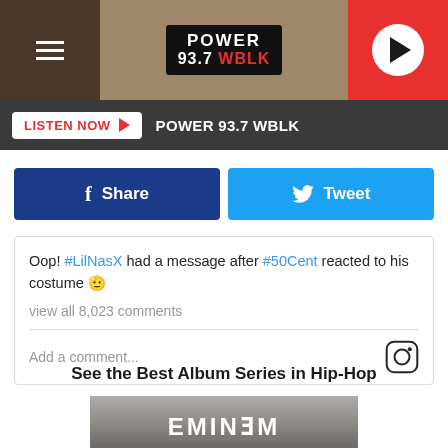POWER 93.7 WBLK — LISTEN NOW
Share | Tweet
Oop! #LilNasX had a message after #50Cent reacted to his costume 🫡
view all 8,023 comments
Add a comment...
See the Best Album Series in Hip-Hop
[Figure (photo): Eminem album cover — grey metallic textured surface with EMINEM text at bottom]